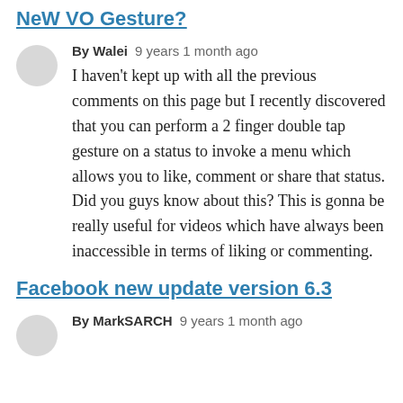NeW VO Gesture?
By Walei   9 years 1 month ago
I haven't kept up with all the previous comments on this page but I recently discovered that you can perform a 2 finger double tap gesture on a status to invoke a menu which allows you to like, comment or share that status. Did you guys know about this? This is gonna be really useful for videos which have always been inaccessible in terms of liking or commenting.
Facebook new update version 6.3
By MarkSARCH   9 years 1 month ago